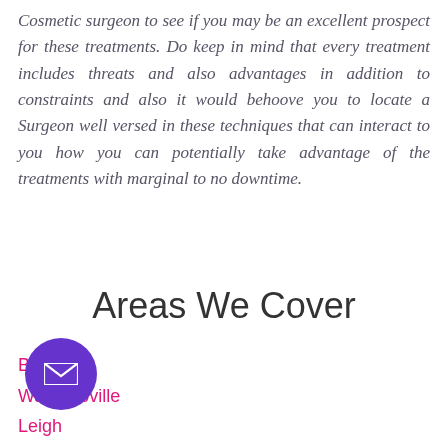Cosmetic surgeon to see if you may be an excellent prospect for these treatments. Do keep in mind that every treatment includes threats and also advantages in addition to constraints and also it would behoove you to locate a Surgeon well versed in these techniques that can interact to you how you can potentially take advantage of the treatments with marginal to no downtime.
Areas We Cover
Bolton
Waterlooville
Leigh
Hyde
Saint...